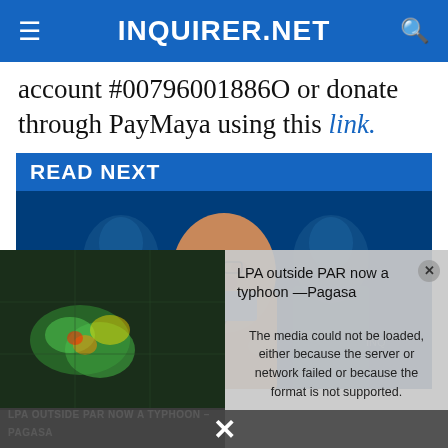INQUIRER.NET
account #00796001886O or donate through PayMaya using this link.
READ NEXT
[Figure (photo): Photo of a man speaking at a podium with two other men visible in the background, all with a blue tint overlay]
[Figure (screenshot): Video player overlay showing 'LPA outside PAR now a typhoon —Pagasa' title on the right, and a weather radar map on the left with error message 'The media could not be loaded, either because the server or network failed or because the format is not supported.' A close X button appears at the bottom.]
LPA outside PAR now a typhoon —Pagasa
The media could not be loaded, either because the server or network failed or because the format is not supported.
LPA OUTSIDE PAR NOW A TYPHOON –PAGASA